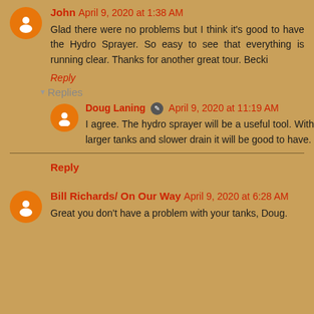John April 9, 2020 at 1:38 AM
Glad there were no problems but I think it's good to have the Hydro Sprayer. So easy to see that everything is running clear. Thanks for another great tour. Becki
Reply
Replies
Doug Laning April 9, 2020 at 11:19 AM
I agree. The hydro sprayer will be a useful tool. With larger tanks and slower drain it will be good to have.
Reply
Bill Richards/ On Our Way April 9, 2020 at 6:28 AM
Great you don't have a problem with your tanks, Doug.